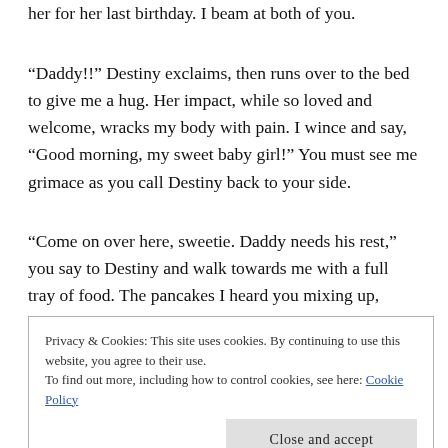her for her last birthday. I beam at both of you.
“Daddy!!” Destiny exclaims, then runs over to the bed to give me a hug. Her impact, while so loved and welcome, wracks my body with pain. I wince and say, “Good morning, my sweet baby girl!” You must see me grimace as you call Destiny back to your side.
“Come on over here, sweetie. Daddy needs his rest,” you say to Destiny and walk towards me with a full tray of food. The pancakes I heard you mixing up, bacon, eggs and even hash browns! A small glass of orange juice is also
Privacy & Cookies: This site uses cookies. By continuing to use this website, you agree to their use.
To find out more, including how to control cookies, see here: Cookie Policy
Close and accept